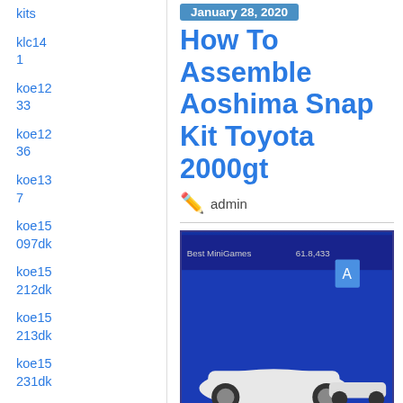kits
klc141
koe1233
koe1236
koe137
koe15097dk
koe15212dk
koe15213dk
koe15231dk
koe15313dk
koe15314dk
koe24
January 28, 2020
How To Assemble Aoshima Snap Kit Toyota 2000gt
admin
[Figure (photo): Thumbnail image showing model cars with text FUN & SIMPLE]
[Figure (photo): Thumbnail image showing How To Assemble ... VLOG #35]